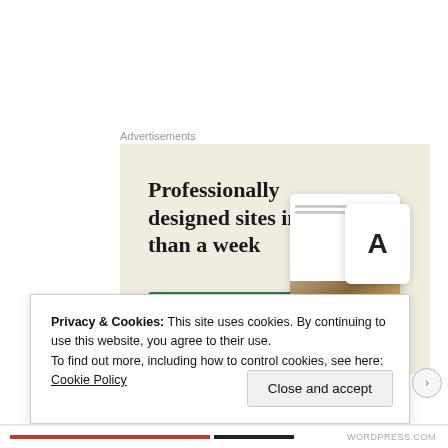Advertisements
[Figure (screenshot): Advertisement banner with beige/cream background showing text 'Professionally designed sites in less than a week' with a green 'Explore options' button and mock website screenshots on the right side]
Privacy & Cookies: This site uses cookies. By continuing to use this website, you agree to their use.
To find out more, including how to control cookies, see here:
Cookie Policy
Close and accept